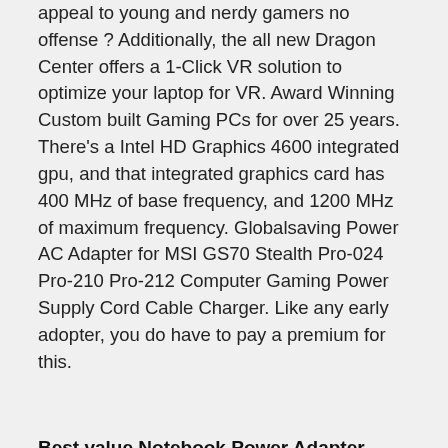appeal to young and nerdy gamers no offense ? Additionally, the all new Dragon Center offers a 1-Click VR solution to optimize your laptop for VR. Award Winning Custom built Gaming PCs for over 25 years. There's a Intel HD Graphics 4600 integrated gpu, and that integrated graphics card has 400 MHz of base frequency, and 1200 MHz of maximum frequency. Globalsaving Power AC Adapter for MSI GS70 Stealth Pro-024 Pro-210 Pro-212 Computer Gaming Power Supply Cord Cable Charger. Like any early adopter, you do have to pay a premium for this.
Best value Notebook Power Adapter 19.5v Great deals on.
This page provides reviews and other infos about the MSI GS70 2PE-421UK of the series GS70 laptop. See more and download card reader driver. It's supremely powerful thanks to Nvidia's latest graphics